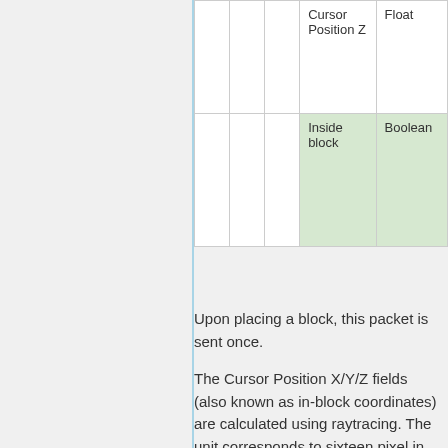|  |  |  | Cursor Position Z | Float |
| --- | --- | --- | --- | --- |
|  |  |  |  |  |
|  |  |  | Inside block | Boolean |
Upon placing a block, this packet is sent once.
The Cursor Position X/Y/Z fields (also known as in-block coordinates) are calculated using raytracing. The unit corresponds to sixteen pixel in the default resource pack. For example, let's say a slab is being placed against the south face of a full block. The Cursor...